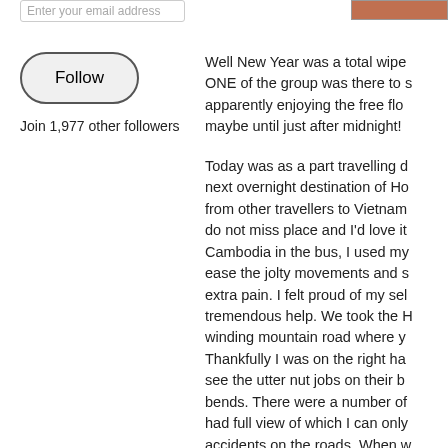Enter your email address
Follow
Join 1,977 other followers
[Figure (photo): Small photo/image thumbnail in top right area]
Well New Year was a total wipe out! ONE of the group was there to s apparently enjoying the free flo maybe until just after midnight!
Today was as a part travelling d next overnight destination of Ho from other travellers to Vietnam do not miss place and I'd love it Cambodia in the bus, I used my ease the jolty movements and s extra pain. I felt proud of my sel tremendous help. We took the H winding mountain road where y Thankfully I was on the right ha see the utter nut jobs on their b bends. There were a number of had full view of which I can only accidents on the roads. When w bus we passed the typical scen hoping to capture on camera f